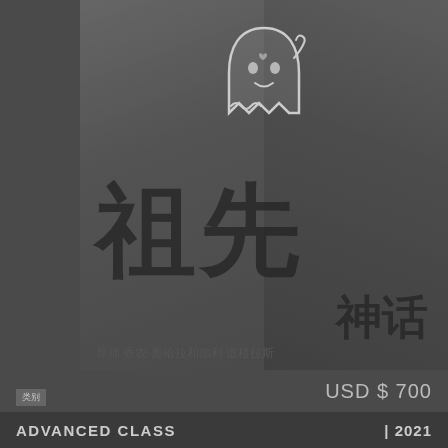[Figure (photo): Book or course cover image showing two people (a woman on the left and an older man on the right) in black and white/greyscale, with a cartoon ghost illustration in the centre, and large Chinese characters '祖先' overlaid, with '神话' below to the right. Small text at bottom reads '导师 香农·奥哈拉和加利·道格拉斯'.]
USD $ 700
类别
ADVANCED CLASS
| 2021